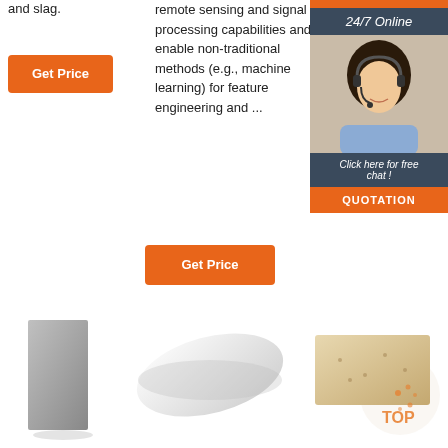and slag.
[Figure (other): Get Price orange button (left column)]
remote sensing and signal processing capabilities and enable non-traditional methods (e.g., machine learning) for feature engineering and ...
[Figure (other): 24/7 Online banner with agent photo and Click here for free chat! and QUOTATION button sidebar]
[Figure (other): Get Price orange button (center column)]
[Figure (photo): Gray concrete/refractory brick block]
[Figure (photo): White cylindrical/elongated refractory brick]
[Figure (photo): Beige/tan refractory brick with TOP watermark]